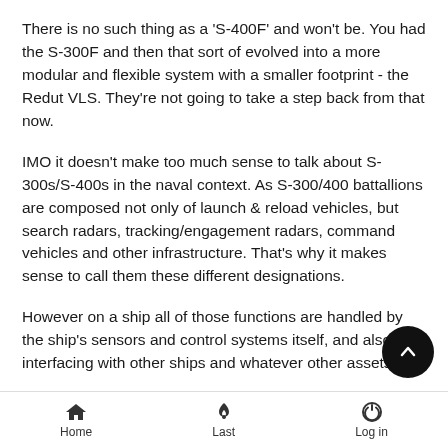There is no such thing as a 'S-400F' and won't be. You had the S-300F and then that sort of evolved into a more modular and flexible system with a smaller footprint - the Redut VLS. They're not going to take a step back from that now.
IMO it doesn't make too much sense to talk about S-300s/S-400s in the naval context. As S-300/400 battallions are composed not only of launch & reload vehicles, but search radars, tracking/engagement radars, command vehicles and other infrastructure. That's why it makes sense to call them these different designations.
However on a ship all of those functions are handled by the ship's sensors and control systems itself, and also via interfacing with other ships and whatever other assets.
So the only differentiation between a S-300 and S-400 that's in the naval context - are the missiles themselves.
Home  Last  Log in